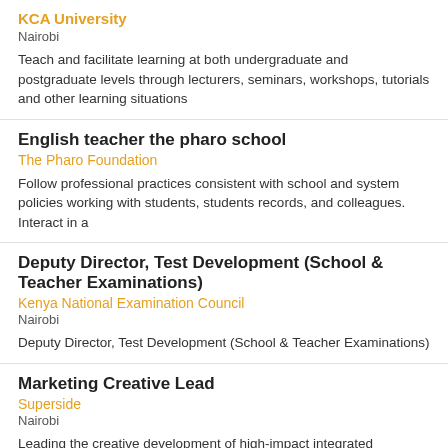KCA University
Nairobi
Teach and facilitate learning at both undergraduate and postgraduate levels through lecturers, seminars, workshops, tutorials and other learning situations
English teacher the pharo school
The Pharo Foundation
Follow professional practices consistent with school and system policies working with students, students records, and colleagues. Interact in a
Deputy Director, Test Development (School & Teacher Examinations)
Kenya National Examination Council
Nairobi
Deputy Director, Test Development (School & Teacher Examinations)
Marketing Creative Lead
Superside
Nairobi
Leading the creative development of high-impact integrated marketing campaigns, brand messaging, and creative design across digital and traditional